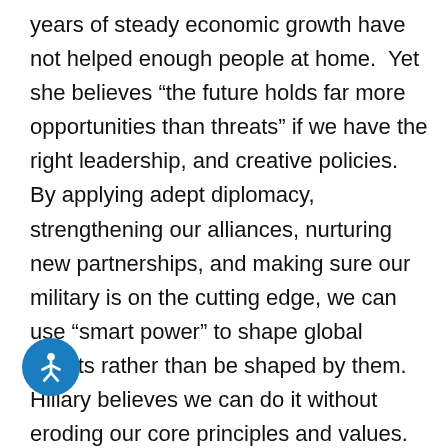years of steady economic growth have not helped enough people at home. Yet she believes “the future holds far more opportunities than threats” if we have the right leadership, and creative policies. By applying adept diplomacy, strengthening our alliances, nurturing new partnerships, and making sure our military is on the cutting edge, we can use “smart power” to shape global events rather than be shaped by them. Hillary believes we can do it without eroding our core principles and values. She’s experienced. President Obama says of his once rival, “She’s seen the consequences of things working well, and things not working well. There has never been any man or woman more qualified for this office than Hillary Clinton, ever.” has put together a coalition of African-Americans, Latinos, Asians, women, organized labor,
[Figure (illustration): Blue circular accessibility button with white stick figure person icon]